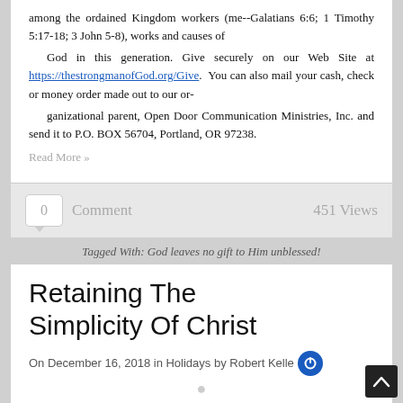among the ordained Kingdom workers (me--Galatians 6:6; 1 Timothy 5:17-18; 3 John 5-8), works and causes of God in this generation. Give securely on our Web Site at https://thestrongmanofGod.org/Give. You can also mail your cash, check or money order made out to our organizational parent, Open Door Communication Ministries, Inc. and send it to P.O. BOX 56704, Portland, OR 97238.
Read More »
0 Comment   451 Views
Tagged With: God leaves no gift to Him unblessed!
Retaining The Simplicity Of Christ
On December 16, 2018 in Holidays by Robert Kelley
As Christmas draws near this year, I am awestruck yet again by how God brought to